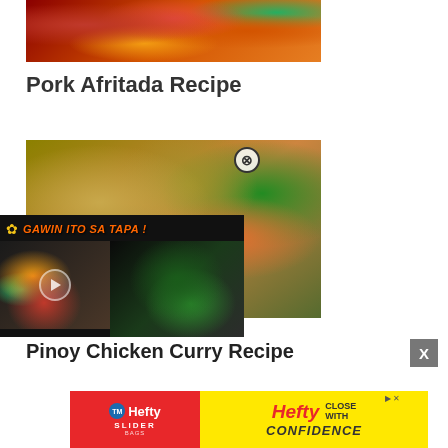[Figure (photo): Close-up photo of Pork Afritada dish with red meat chunks, green peas, and orange vegetables in sauce]
Pork Afritada Recipe
[Figure (photo): Photo of Pinoy Chicken Curry Recipe with chicken pieces in yellow-green curry sauce with red and green peppers]
[Figure (screenshot): Video overlay showing 'GAWIN ITO SA TAPA!' with food thumbnail and play button, bottle of Sprite on right side, close X button]
Pinoy Chicken Curry Recipe
[Figure (photo): Advertisement banner for Hefty Slider Bags with 'CLOSE WITH CONFIDENCE' text on yellow background]